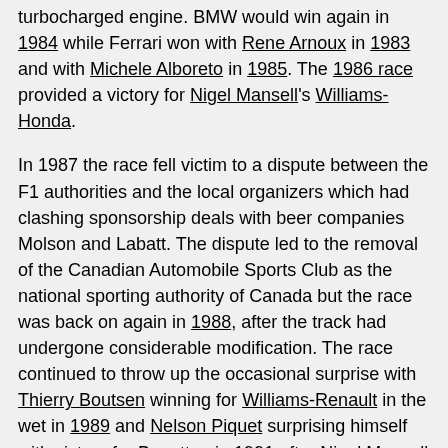turbocharged engine. BMW would win again in 1984 while Ferrari won with Rene Arnoux in 1983 and with Michele Alboreto in 1985. The 1986 race provided a victory for Nigel Mansell's Williams-Honda.
In 1987 the race fell victim to a dispute between the F1 authorities and the local organizers which had clashing sponsorship deals with beer companies Molson and Labatt. The dispute led to the removal of the Canadian Automobile Sports Club as the national sporting authority of Canada but the race was back on again in 1988, after the track had undergone considerable modification. The race continued to throw up the occasional surprise with Thierry Boutsen winning for Williams-Renault in the wet in 1989 and Nelson Piquet surprising himself with victory for Benetton in 1991 after Nigel Mansell broke down on the last lap. The 1995 race was another surprise with Jean Alesi inheriting victory after Michael Schumacher ran into trouble.
In 1996 there was much excitement as Gilles Villeneuve's son Jacques became a Williams driver but he was beaten by his team mate Damon Hill that day.